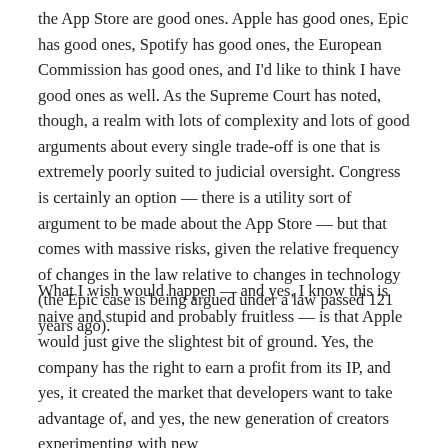the App Store are good ones. Apple has good ones, Epic has good ones, Spotify has good ones, the European Commission has good ones, and I'd like to think I have good ones as well. As the Supreme Court has noted, though, a realm with lots of complexity and lots of good arguments about every single trade-off is one that is extremely poorly suited to judicial oversight. Congress is certainly an option — there is a utility sort of argument to be made about the App Store — but that comes with massive risks, given the relative frequency of changes in the law relative to changes in technology (the Epic case is being argued under a law passed 121 years ago).
What I wish would happen — and yes, I know this is naive and stupid and probably fruitless — is that Apple would just give the slightest bit of ground. Yes, the company has the right to earn a profit from its IP, and yes, it created the market that developers want to take advantage of, and yes, the new generation of creators experimenting with new